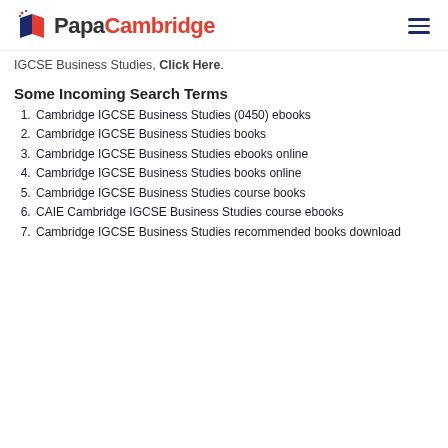PapaCambridge
IGCSE Business Studies, Click Here.
Some Incoming Search Terms
Cambridge IGCSE Business Studies (0450) ebooks
Cambridge IGCSE Business Studies books
Cambridge IGCSE Business Studies ebooks online
Cambridge IGCSE Business Studies books online
Cambridge IGCSE Business Studies course books
CAIE Cambridge IGCSE Business Studies course ebooks
Cambridge IGCSE Business Studies recommended books download